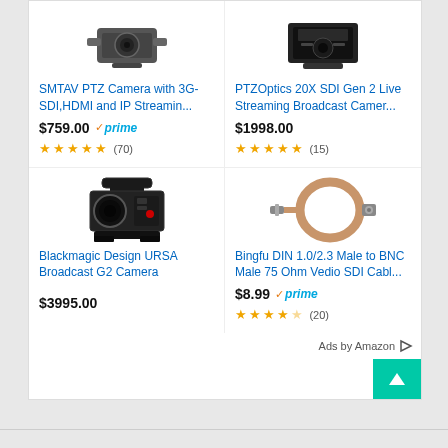[Figure (photo): SMTAV PTZ Camera product image]
SMTAV PTZ Camera with 3G-SDI,HDMI and IP Streamin...
$759.00 ✓prime — 4.5 stars (70)
[Figure (photo): PTZOptics 20X SDI Gen 2 Live Streaming Broadcast Camera product image]
PTZOptics 20X SDI Gen 2 Live Streaming Broadcast Camer...
$1998.00 — 4.5 stars (15)
[Figure (photo): Blackmagic Design URSA Broadcast G2 Camera product image]
Blackmagic Design URSA Broadcast G2 Camera
$3995.00
[Figure (photo): Bingfu DIN 1.0/2.3 Male to BNC Male 75 Ohm Vedio SDI Cable product image]
Bingfu DIN 1.0/2.3 Male to BNC Male 75 Ohm Vedio SDI Cabl...
$8.99 ✓prime — 3.5 stars (20)
Ads by Amazon